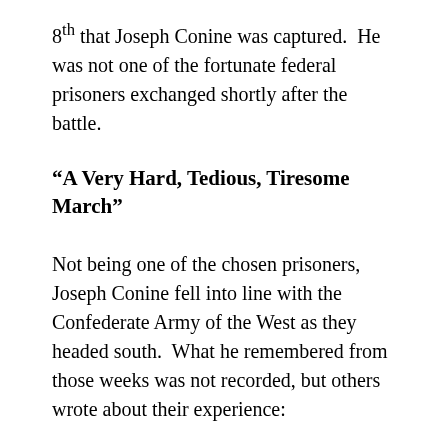8th that Joseph Conine was captured. He was not one of the fortunate federal prisoners exchanged shortly after the battle.
“A Very Hard, Tedious, Tiresome March”
Not being one of the chosen prisoners, Joseph Conine fell into line with the Confederate Army of the West as they headed south. What he remembered from those weeks was not recorded, but others wrote about their experience:
The army was a confused mob, not a regiment,